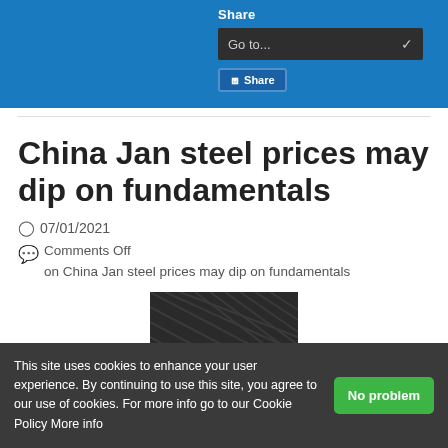Share | Go to... | Share
China Jan steel prices may dip on fundamentals
07/01/2021
Comments Off on China Jan steel prices may dip on fundamentals
[Figure (photo): Close-up of steel rebar with red PRICES text overlay]
This site uses cookies to enhance your user experience. By continuing to use this site, you agree to our use of cookies. For more info go to our Cookie Policy More info